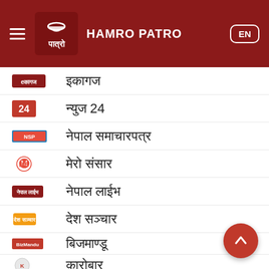HAMRO PATRO
इकागज
न्युज 24
नेपाल समाचारपत्र
मेरो संसार
नेपाल लाईभ
देश सञ्चार
बिजमाण्डू
कारोबार